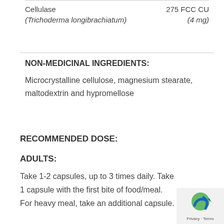| Ingredient | Amount |
| --- | --- |
| Cellulase | 275 FCC CU |
| (Trichoderma longibrachiatum) | (4 mg) |
NON-MEDICINAL INGREDIENTS:
Microcrystalline cellulose, magnesium stearate, maltodextrin and hypromellose
RECOMMENDED DOSE:
ADULTS:
Take 1-2 capsules, up to 3 times daily. Take 1 capsule with the first bite of food/meal. For heavy meal, take an additional capsule.